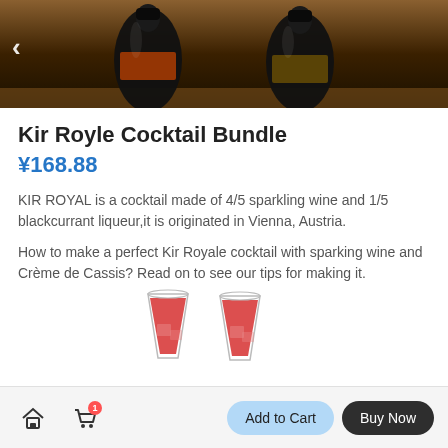[Figure (photo): Photo of dark bottles at a bar, top banner image]
Kir Royle Cocktail Bundle
¥168.88
KIR ROYAL is a cocktail made of 4/5 sparkling wine and 1/5 blackcurrant liqueur,it is originated in Vienna, Austria.
How to make a perfect Kir Royale cocktail with sparking wine and Crème de Cassis? Read on to see our tips for making it.
A Kir Royale should not be very sweet. We use dry sparkling wine and let the Crème de Cassis sweeten the drink ever so slightly.
[Figure (photo): Two glasses of red Kir Royale cocktail]
Add to Cart  Buy Now